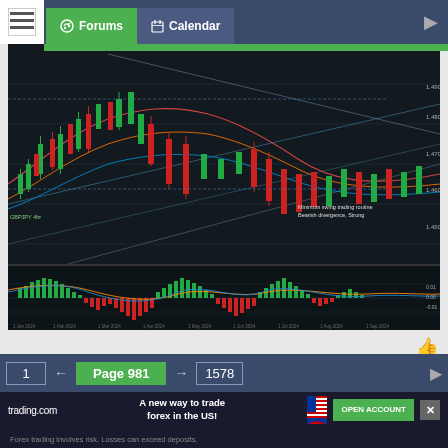Forums | Calendar
[Figure (screenshot): Financial trading chart screenshot showing candlestick chart with technical indicators, moving averages, trend lines, and MACD oscillator at the bottom. Chart shows forex/currency price action with green and red candlesticks, multiple overlay indicators, and annotation text.]
[Figure (screenshot): trading.com advertisement banner showing 'A new way' headline with US flag and mobile app screenshot on dark green background]
1 ← Page 981 → 1578
[Figure (screenshot): trading.com bottom ad strip: 'A new way to trade forex in the US!' with OPEN ACCOUNT button. Forex trading involves risk. Losses can exceed deposits.]